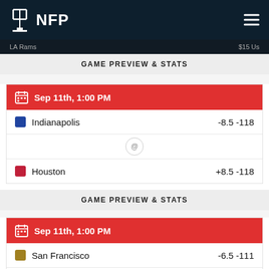NFP
LA Rams   $15 Us
GAME PREVIEW & STATS
Sep 11th, 1:00 PM
Indianapolis   -8.5 -118
Houston   +8.5 -118
GAME PREVIEW & STATS
Sep 11th, 1:00 PM
San Francisco   -6.5 -111
Chicago   +6.5 -111
GAME PREVIEW & STATS